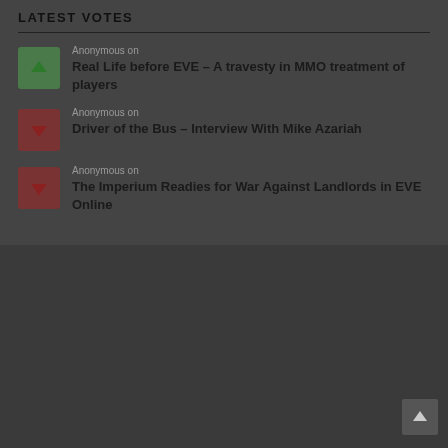LATEST VOTES
Anonymous on Real Life before EVE – A travesty in MMO treatment of players
Anonymous on Driver of the Bus – Interview With Mike Azariah
Anonymous on The Imperium Readies for War Against Landlords in EVE Online